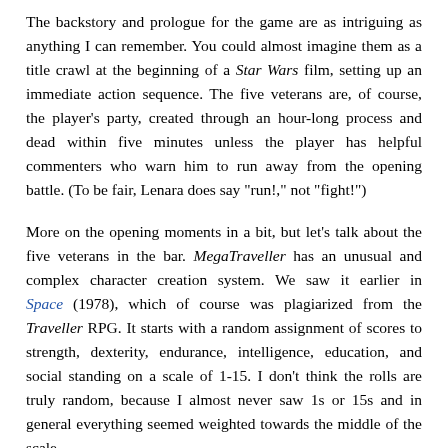The backstory and prologue for the game are as intriguing as anything I can remember. You could almost imagine them as a title crawl at the beginning of a Star Wars film, setting up an immediate action sequence. The five veterans are, of course, the player's party, created through an hour-long process and dead within five minutes unless the player has helpful commenters who warn him to run away from the opening battle. (To be fair, Lenara does say "run!," not "fight!")
More on the opening moments in a bit, but let's talk about the five veterans in the bar. MegaTraveller has an unusual and complex character creation system. We saw it earlier in Space (1978), which of course was plagiarized from the Traveller RPG. It starts with a random assignment of scores to strength, dexterity, endurance, intelligence, education, and social standing on a scale of 1-15. I don't think the rolls are truly random, because I almost never saw 1s or 15s and in general everything seemed weighted towards the middle of the scale.